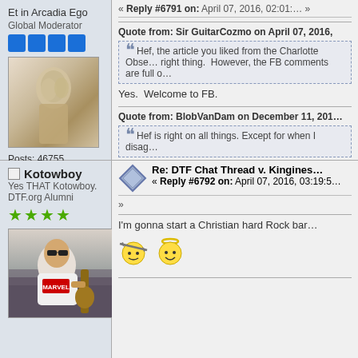Et in Arcadia Ego
Global Moderator
[Figure (photo): Stone statue avatar image]
Posts: 46755
Gender: male
Postwhore Emeritus
« Reply #6791 on: April 07, 2016, 02:01... »
Quote from: Sir GuitarCozmo on April 07, 2016,
Hef, the article you liked from the Charlotte Obse... right thing. However, the FB comments are full o...
Yes.  Welcome to FB.
Quote from: BlobVanDam on December 11, 201...
Hef is right on all things. Except for when I disag...
Kotowboy
Yes THAT Kotowboy.
DTF.org Alumni
[Figure (photo): User avatar photo of person sitting with guitar]
Re: DTF Chat Thread v. Kingines...
« Reply #6792 on: April 07, 2016, 03:19:5... »
I'm gonna start a Christian hard Rock bar...
[Figure (illustration): Two emoji faces: one with arrow through head, one smiling with halo]